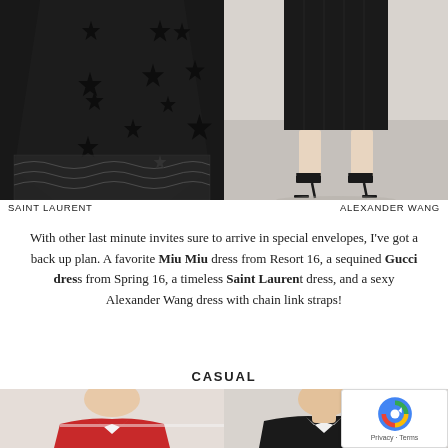[Figure (photo): Close-up of a Saint Laurent black dress with star pattern fabric and sheer lacy hem]
[Figure (photo): Alexander Wang black midi dress shown from waist down with black high heel strappy sandals on grey background]
SAINT LAURENT
ALEXANDER WANG
With other last minute invites sure to arrive in special envelopes, I've got a back up plan. A favorite Miu Miu dress from Resort 16, a sequined Gucci dress from Spring 16, a timeless Saint Laurent dress, and a sexy Alexander Wang dress with chain link straps!
CASUAL
[Figure (photo): Woman wearing red and white jacket/blazer, partial view of upper body and face]
[Figure (photo): Woman wearing black and white jacket/blazer, partial view of upper body]